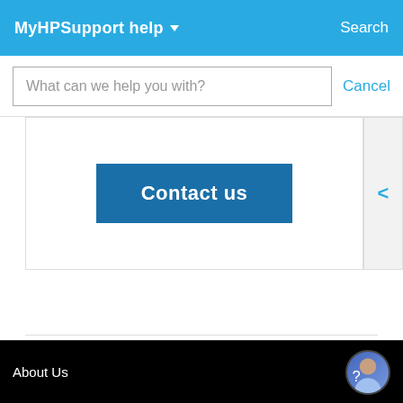MyHPSupport help  Search
What can we help you with?
Cancel
[Figure (screenshot): Contact us button in a blue panel with a back arrow on the right]
Country/Region:  Ireland
About Us